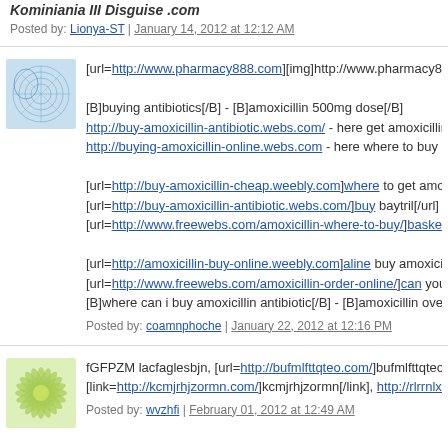Kominiania III Disguise .com
Posted by: Lionya-ST | January 14, 2012 at 12:12 AM
[url=http://www.pharmacy888.com][img]http://www.pharmacy888.co...
[B]buying antibiotics[/B] - [B]amoxicillin 500mg dose[/B]
http://buy-amoxicillin-antibiotic.webs.com/ - here get amoxicillin - pe...
http://buying-amoxicillin-online.webs.com - here where to buy antibi...
[url=http://buy-amoxicillin-cheap.weebly.com]where to get amoxicill...
[url=http://buy-amoxicillin-antibiotic.webs.com/]buy baytril[/url] - a...
[url=http://www.freewebs.com/amoxicillin-where-to-buy/]basketball...
[url=http://amoxicillin-buy-online.weebly.com]aline buy amoxicillin[...
[url=http://www.freewebs.com/amoxicillin-order-online/]can you buy...
[B]where can i buy amoxicillin antibiotic[/B] - [B]amoxicillin over th...
Posted by: coamnphoche | January 22, 2012 at 12:16 PM
fGFPZM lacfaglesbjn, [url=http://bufmlfttqteo.com/]bufmlfttqteo[/url...
[link=http://kcmjrhjzormn.com/]kcmjrhjzormn[/link], http://rlrrnlxujx...
Posted by: wvzhfi | February 01, 2012 at 12:49 AM